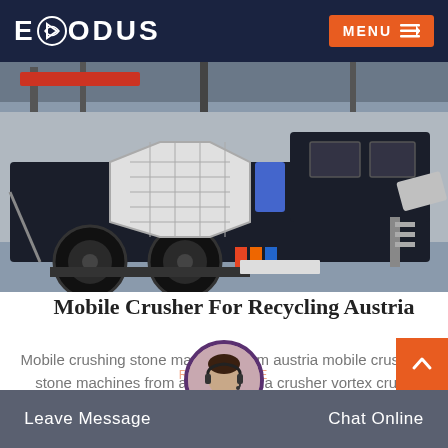EXODUS | MENU
[Figure (photo): Mobile crusher machine on a wheeled trailer inside an industrial facility, with large crushing equipment and conveyor components visible.]
Mobile Crusher For Recycling Austria
Mobile crushing stone machines from austria mobile crushing stone machines from austria austria crusher vortex crush
Leave Message | Chat Online